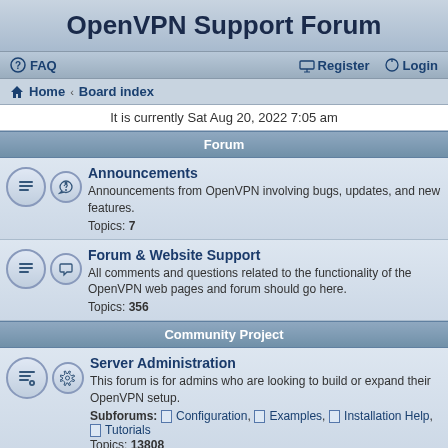OpenVPN Support Forum
FAQ  Register  Login
Home · Board index
It is currently Sat Aug 20, 2022 7:05 am
Forum
Announcements
Announcements from OpenVPN involving bugs, updates, and new features.
Topics: 7
Forum & Website Support
All comments and questions related to the functionality of the OpenVPN web pages and forum should go here.
Topics: 356
Community Project
Server Administration
This forum is for admins who are looking to build or expand their OpenVPN setup.
Subforums: Configuration, Examples, Installation Help, Tutorials
Topics: 13808
Testing branch
Weekly dev snapshots are available for testing.
We talk about them here. Testing features in the dev snapshot helps the features make it to stable.
Topics: 131